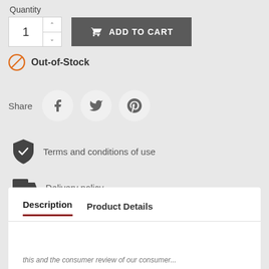Quantity
[Figure (screenshot): Quantity input box with number 1 and up/down arrows, and dark gray Add to Cart button with cart icon]
Out-of-Stock
Share
[Figure (other): Social share buttons: Facebook, Twitter, Pinterest circular icons]
Terms and conditions of use
Delivery policy
Description
Product Details